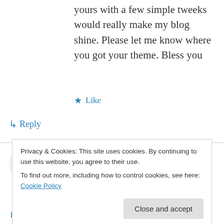yours with a few simple tweeks would really make my blog shine. Please let me know where you got your theme. Bless you
★ Like
↳ Reply
********@gmail.com on 12/03/2014 at 2:22 AM
Greetings! I've been following your site for a while now and finally got the courage to go
Privacy & Cookies: This site uses cookies. By continuing to use this website, you agree to their use.
To find out more, including how to control cookies, see here: Cookie Policy
Close and accept
↳ Reply